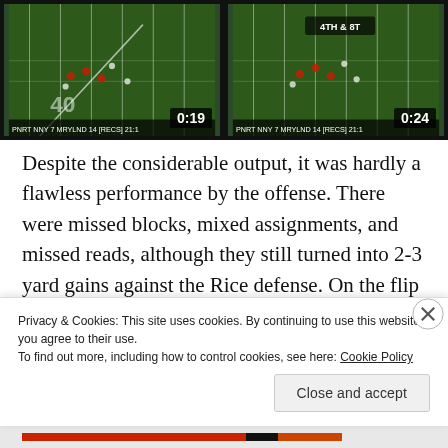[Figure (screenshot): Two side-by-side football game video thumbnails with timestamps 0:19 and 0:24 shown on a dark background. The left thumbnail shows an aerial view of a football field with yard lines and players, with scoreboard overlay. The right thumbnail shows a similar view with '4TH & 8T' visible and scoreboard overlay.]
Despite the considerable output, it was hardly a flawless performance by the offense. There were missed blocks, mixed assignments, and missed reads, although they still turned into 2-3 yard gains against the Rice defense. On the flip side, there were also some immediate
Privacy & Cookies: This site uses cookies. By continuing to use this website, you agree to their use.
To find out more, including how to control cookies, see here: Cookie Policy
Close and accept